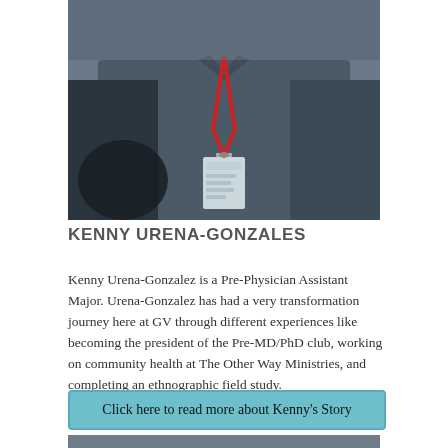[Figure (photo): A man wearing a grey button-up shirt with a red lanyard and an ID badge around his neck, photographed from the chest up against a blurred background.]
KENNY URENA-GONZALES
Kenny Urena-Gonzalez is a Pre-Physician Assistant Major. Urena-Gonzalez has had a very transformation journey here at GV through different experiences like becoming the president of the Pre-MD/PhD club, working on community health at The Other Way Ministries, and completing an ethnographic field study.
Click here to read more about Kenny's Story
[Figure (photo): Partial view of another photograph at the bottom of the page.]